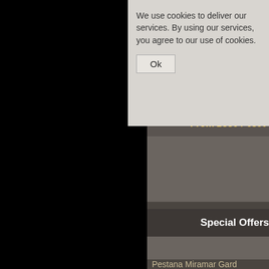[Figure (screenshot): Website screenshot showing a hotel booking page with a cookie consent banner overlaid. Left portion shows a dark/black image area. Right portion shows a gray background with hotel listings including 'Belmond Reid's Palace', a price bar 'From £330 / €390', a 'Special Offers' section header, and 'Pestana Miramar Gard...' listing.]
We use cookies to deliver our services. By using our services, you agree to our use of cookies.
Ok
From £330 / €390
Belmond Reid's Palace
Special Offers
Pestana Miramar Gard...